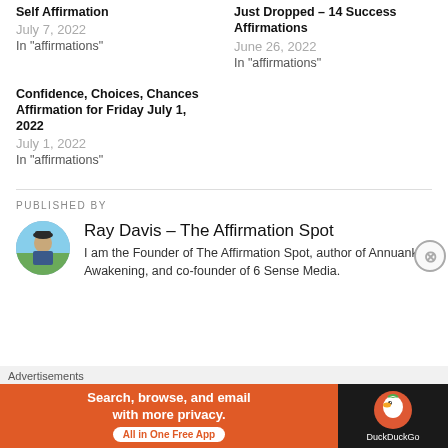Self Affirmation
July 7, 2022
In "affirmations"
Just Dropped – 14 Success Affirmations
June 26, 2022
In "affirmations"
Confidence, Choices, Chances Affirmation for Friday July 1, 2022
July 1, 2022
In "affirmations"
PUBLISHED BY
Ray Davis – The Affirmation Spot
I am the Founder of The Affirmation Spot, author of Annuanki Awakening, and co-founder of 6 Sense Media.
[Figure (illustration): DuckDuckGo advertisement banner with orange left section reading 'Search, browse, and email with more privacy. All in One Free App' and dark right section with DuckDuckGo duck logo]